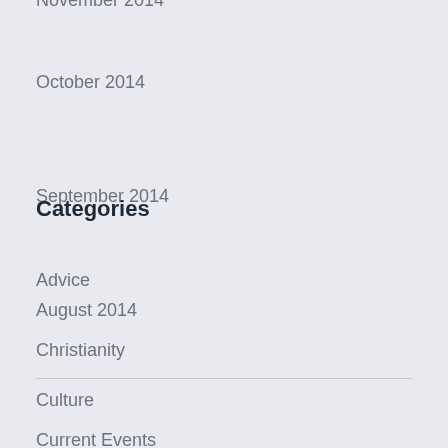November 2014
October 2014
September 2014
August 2014
Categories
Advice
Christianity
Culture
Current Events
Family